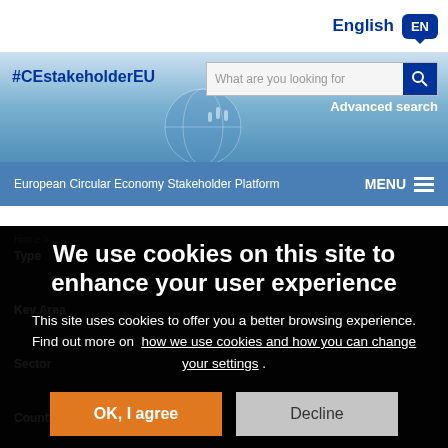English EN
#CEstakeholderEU — What are you looking for — Advanced search
European Circular Economy Stakeholder Platform — MENU
Home ...
Type
Key Area
Sector
Country
We use cookies on this site to enhance your user experience
This site uses cookies to offer you a better browsing experience. Find out more on how we use cookies and how you can change your settings .
OK, I agree
Decline